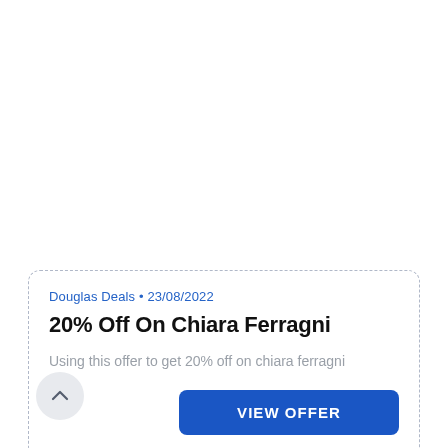Douglas Deals • 23/08/2022
20% Off On Chiara Ferragni
Using this offer to get 20% off on chiara ferragni